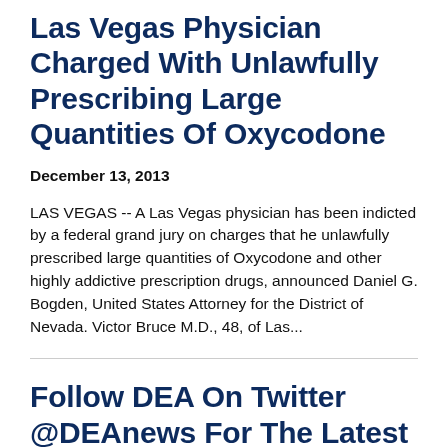Las Vegas Physician Charged With Unlawfully Prescribing Large Quantities Of Oxycodone
December 13, 2013
LAS VEGAS -- A Las Vegas physician has been indicted by a federal grand jury on charges that he unlawfully prescribed large quantities of Oxycodone and other highly addictive prescription drugs, announced Daniel G. Bogden, United States Attorney for the District of Nevada. Victor Bruce M.D., 48, of Las...
Follow DEA On Twitter @DEAnews For The Latest News And Updates